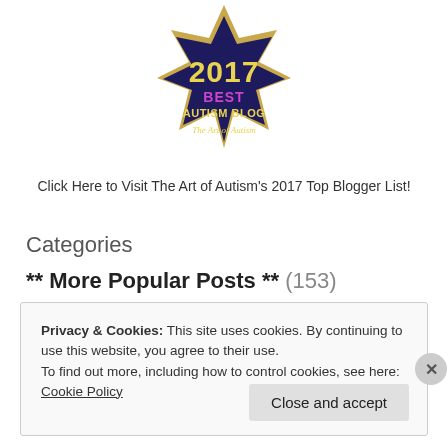[Figure (illustration): 2017 Best Autism Blog badge from The Art of Autism — dark navy star-shaped badge with gold border, '2017' in yellow, 'BEST' in magenta, 'AUTISM BLOG' in yellow, 'The Art of Autism' in italic yellow text]
Click Here to Visit The Art of Autism's 2017 Top Blogger List!
Categories
** More Popular Posts ** (153)
Privacy & Cookies: This site uses cookies. By continuing to use this website, you agree to their use.
To find out more, including how to control cookies, see here: Cookie Policy
Close and accept